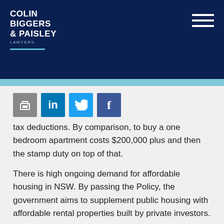COLIN BIGGERS & PAISLEY LAWYERS
[Figure (other): Social sharing icons: print/email (grey), LinkedIn (blue), Twitter (light blue), Facebook (dark blue)]
tax deductions. By comparison, to buy a one bedroom apartment costs $200,000 plus and then the stamp duty on top of that.
There is high ongoing demand for affordable housing in NSW. By passing the Policy, the government aims to supplement public housing with affordable rental properties built by private investors.
Policy expands permissible use of granny flats
The Policy expands the use of the granny flat and